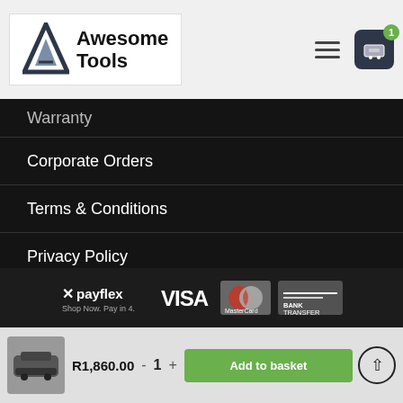Awesome Tools
Warranty
Corporate Orders
Terms & Conditions
Privacy Policy
Cancellation, Returns and Refunds Policy
Shipping Information
Contact Us
[Figure (logo): Payment methods: Payflex, VISA, MasterCard, Bank Transfer]
R1,860.00  -  1  +  Add to basket